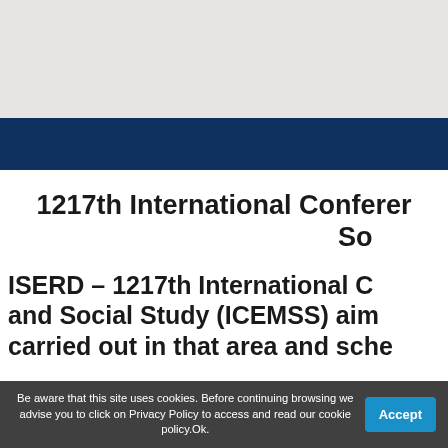1217th International Conference on Economics, Management and Social Study (ICEMSS)
ISERD – 1217th International Conference on Economics, Management and Social Study (ICEMSS) aims carried out in that area and sche
Be aware that this site uses cookies. Before continuing browsing we advise you to click on Privacy Policy to access and read our cookie policy.Ok.